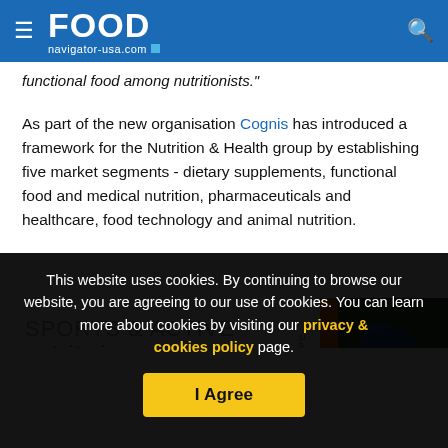FOOD navigator-usa.com
functional food among nutritionists."
As part of the new organisation Cognis has introduced a framework for the Nutrition & Health group by establishing five market segments - dietary supplements, functional food and medical nutrition, pharmaceuticals and healthcare, food technology and animal nutrition.
[Figure (screenshot): Sports & Active Nutrition Summit Europe advertisement banner with orange and blue design elements and a cyclist image]
This website uses cookies. By continuing to browse our website, you are agreeing to our use of cookies. You can learn more about cookies by visiting our privacy & cookies policy page.
I Agree